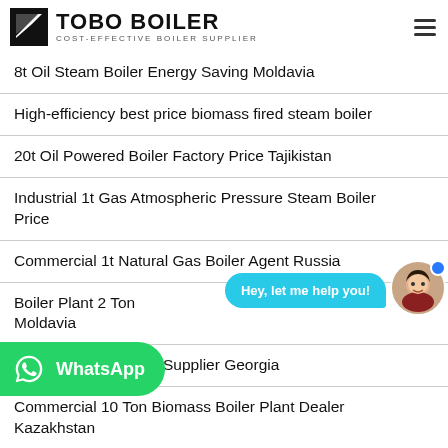TOBO BOILER — COST-EFFECTIVE BOILER SUPPLIER
8t Oil Steam Boiler Energy Saving Moldavia
High-efficiency best price biomass fired steam boiler
20t Oil Powered Boiler Factory Price Tajikistan
Industrial 1t Gas Atmospheric Pressure Steam Boiler Price
Commercial 1t Natural Gas Boiler Agent Russia
Boiler Plant 2 Ton … cial Moldavia
… Steam Boiler Supplier Georgia
Commercial 10 Ton Biomass Boiler Plant Dealer Kazakhstan
[Figure (other): Chat help bubble with avatar: 'Hey, let me help you!']
[Figure (logo): WhatsApp button with green background and WhatsApp icon]